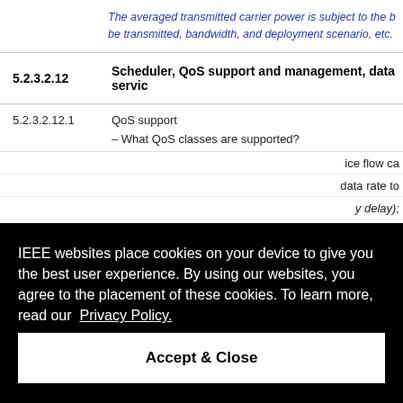The averaged transmitted carrier power is subject to the be transmitted, bandwidth, and deployment scenario, etc.
5.2.3.2.12    Scheduler, QoS support and management, data servi…
5.2.3.2.12.1    QoS support
– What QoS classes are supported?
ice flow ca…
data rate to…
y delay);
ed by the M…
n radio acce…
IEEE websites place cookies on your device to give you the best user experience. By using our websites, you agree to the placement of these cookies. To learn more, read our Privacy Policy.
Accept & Close
– How users may utilize several applications with differing…